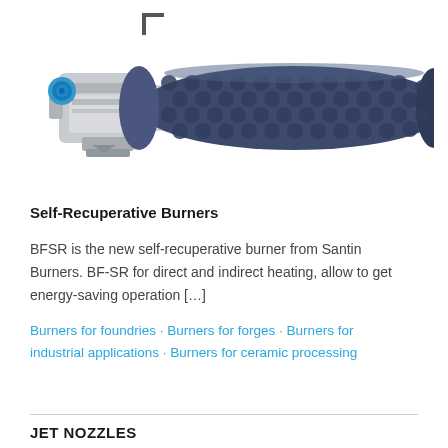[Figure (photo): Photo of a self-recuperative burner (BFSR) from Santin Burners. The device has a grey metal housing/mount on the left with a blue circular connector, and a dark navy blue textured cylindrical tube extending to the right with a honeycomb or dimpled surface pattern.]
Self-Recuperative Burners
BFSR is the new self-recuperative burner from Santin Burners. BF-SR for direct and indirect heating, allow to get energy-saving operation […]
Burners for foundries · Burners for forges · Burners for industrial applications · Burners for ceramic processing
JET NOZZLES